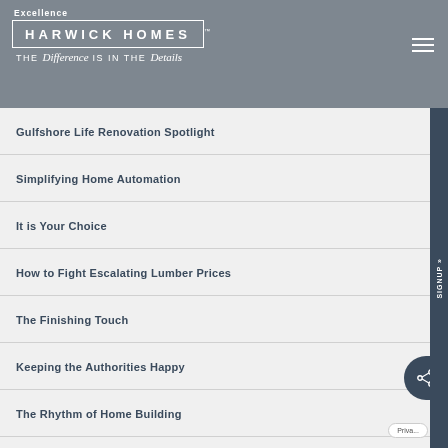Excellence — HARWICK HOMES™ — THE Difference IS IN THE Details
Gulfshore Life Renovation Spotlight
Simplifying Home Automation
It is Your Choice
How to Fight Escalating Lumber Prices
The Finishing Touch
Keeping the Authorities Happy
The Rhythm of Home Building
Is the Customer Always Right?